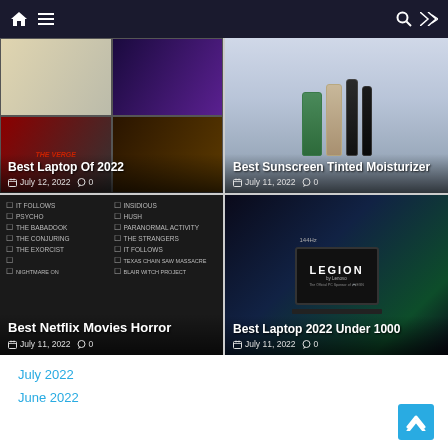Navigation bar with home, menu, search, and shuffle icons
[Figure (photo): Grid of laptop images collage - Best Laptop Of 2022, dated July 12, 2022, 0 comments]
[Figure (photo): Sunscreen and tinted moisturizer products - Best Sunscreen Tinted Moisturizer, dated July 11, 2022, 0 comments]
[Figure (photo): Horror movie checklist on dark background - Best Netflix Movies Horror, dated July 11, 2022, 0 comments]
[Figure (photo): Lenovo Legion laptop - Best Laptop 2022 Under 1000, dated July 11, 2022, 0 comments]
July 2022
June 2022